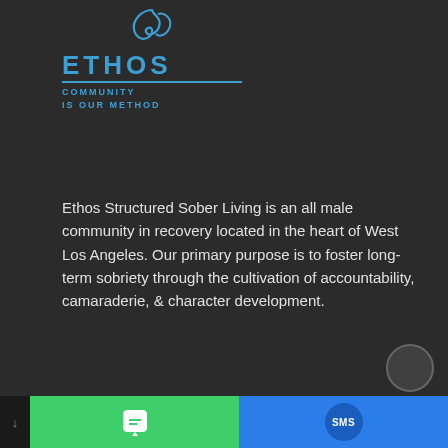[Figure (logo): Ethos Community Is Our Method logo with stylized wave/script icon above the text. ETHOS in large blue letters, with a blue horizontal line, then COMMUNITY IS OUR METHOD in smaller blue capital letters below.]
Ethos Structured Sober Living is an all male community in recovery located in the heart of West Los Angeles. Our primary purpose is to foster long-term sobriety through the cultivation of accountability, camaraderie, & character development.
[Figure (infographic): Four social media icons in a row: Twitter bird icon, Facebook f icon, Google G icon, Instagram camera icon. All outlined/white on dark background.]
Helpful Links
Home